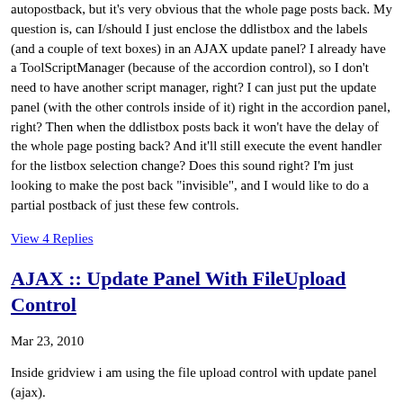autopostback, but it's very obvious that the whole page posts back. My question is, can I/should I just enclose the ddlistbox and the labels (and a couple of text boxes) in an AJAX update panel? I already have a ToolScriptManager (because of the accordion control), so I don't need to have another script manager, right? I can just put the update panel (with the other controls inside of it) right in the accordion panel, right? Then when the ddlistbox posts back it won't have the delay of the whole page posting back? And it'll still execute the event handler for the listbox selection change? Does this sound right? I'm just looking to make the post back "invisible", and I would like to do a partial postback of just these few controls.
View 4 Replies
AJAX :: Update Panel With FileUpload Control
Mar 23, 2010
Inside gridview i am using the file upload control with update panel (ajax).
in save button file upload control null problem.